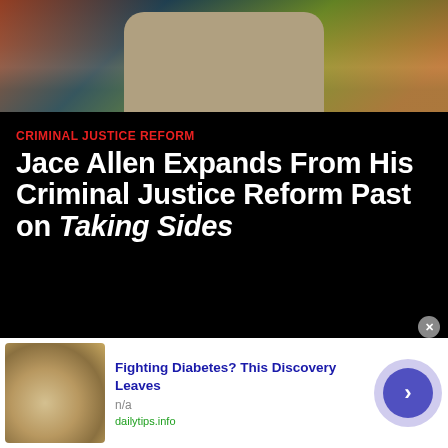[Figure (photo): Top portion of a person wearing a khaki/beige t-shirt, with a colorful patterned background in greens, reds, and blues]
CRIMINAL JUSTICE REFORM
Jace Allen Expands From His Criminal Justice Reform Past on Taking Sides
[Figure (screenshot): Dark navy/black video player area]
[Figure (photo): Advertisement banner showing cashews/nuts with text 'Fighting Diabetes? This Discovery Leaves' from dailytips.info]